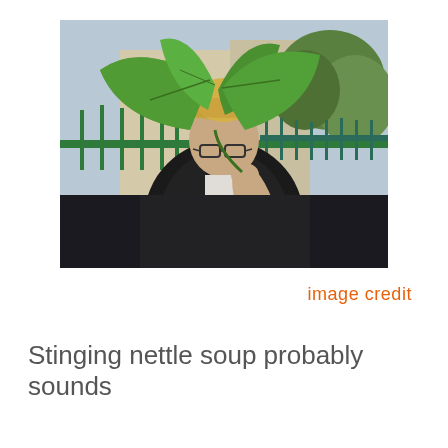[Figure (photo): A man wearing a straw hat and black jacket holds up large green leaves (stinging nettle) toward the camera. He is wearing glasses and standing in front of a green iron fence and a building. The background shows trees and a pale blue sky.]
image credit
Stinging nettle soup probably sounds